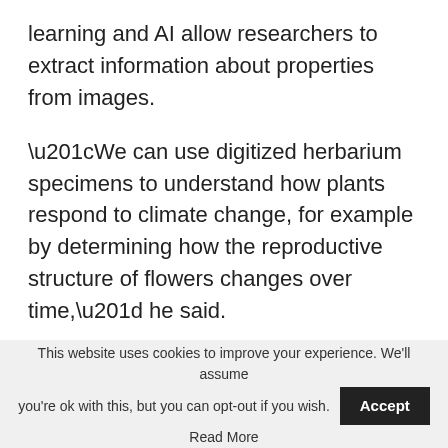learning and AI allow researchers to extract information about properties from images.
“We can use digitized herbarium specimens to understand how plants respond to climate change, for example by determining how the reproductive structure of flowers changes over time,” he said.
The team will continue to expand the herbarium’s digital assets as more plant specimens from Australia and the region are added to the
This website uses cookies to improve your experience. We’ll assume you’re ok with this, but you can opt-out if you wish. Accept Read More